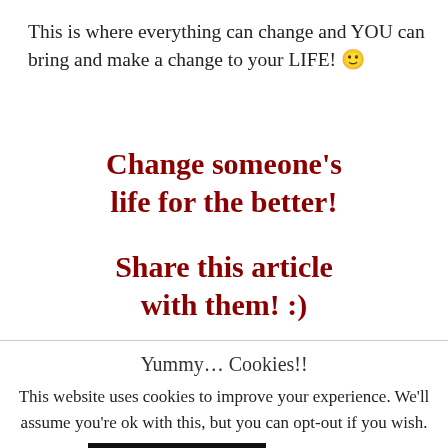This is where everything can change and YOU can bring and make a change to your LIFE! 🙂
Change someone's life for the better!
Share this article with them! :)
Yummy… Cookies!!
This website uses cookies to improve your experience. We'll assume you're ok with this, but you can opt-out if you wish.
Yes! I LOVE cookies :)
Read More